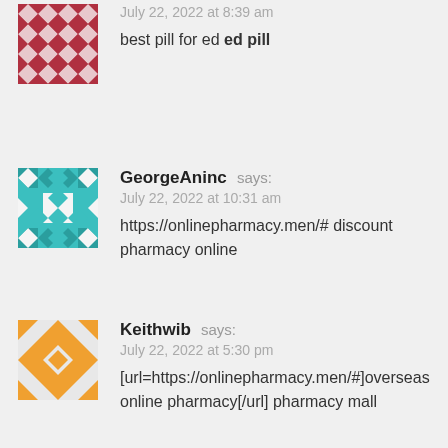July 22, 2022 at 8:39 am
best pill for ed ed pill
GeorgeAninc says:
July 22, 2022 at 10:31 am
https://onlinepharmacy.men/# discount pharmacy online
Keithwib says:
July 22, 2022 at 5:30 pm
[url=https://onlinepharmacy.men/#]overseas online pharmacy[/url] pharmacy mall